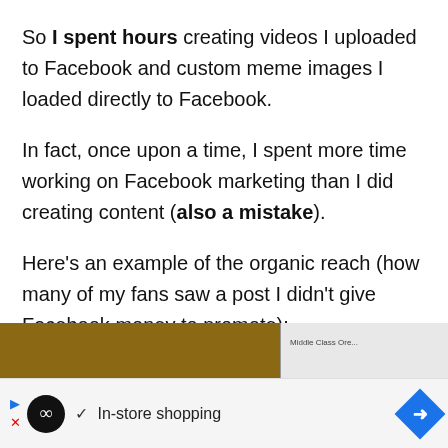So I spent hours creating videos I uploaded to Facebook and custom meme images I loaded directly to Facebook.
In fact, once upon a time, I spent more time working on Facebook marketing than I did creating content (also a mistake).
Here's an example of the organic reach (how many of my fans saw a post I didn't give Facebook money to promote):
[Figure (screenshot): Partial screenshot of a Facebook post showing organic reach, partially obscured by an ad banner at the bottom.]